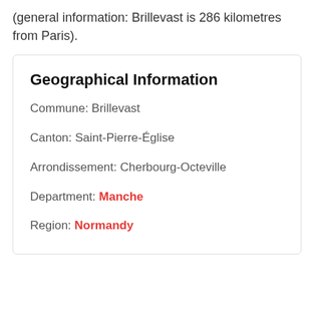(general information: Brillevast is 286 kilometres from Paris).
Geographical Information
Commune: Brillevast
Canton: Saint-Pierre-Église
Arrondissement: Cherbourg-Octeville
Department: Manche
Region: Normandy